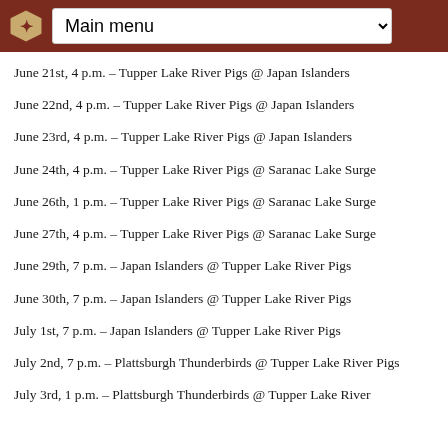Main menu
June 21st, 4 p.m. – Tupper Lake River Pigs @ Japan Islanders
June 22nd, 4 p.m. – Tupper Lake River Pigs @ Japan Islanders
June 23rd, 4 p.m. – Tupper Lake River Pigs @ Japan Islanders
June 24th, 4 p.m. – Tupper Lake River Pigs @ Saranac Lake Surge
June 26th, 1 p.m. – Tupper Lake River Pigs @ Saranac Lake Surge
June 27th, 4 p.m. – Tupper Lake River Pigs @ Saranac Lake Surge
June 29th, 7 p.m. – Japan Islanders @ Tupper Lake River Pigs
June 30th, 7 p.m. – Japan Islanders @ Tupper Lake River Pigs
July 1st, 7 p.m. – Japan Islanders @ Tupper Lake River Pigs
July 2nd, 7 p.m. – Plattsburgh Thunderbirds @ Tupper Lake River Pigs
July 3rd, 1 p.m. – Plattsburgh Thunderbirds @ Tupper Lake River